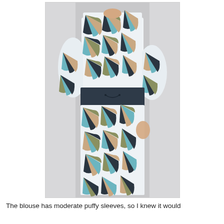[Figure (photo): A woman wearing a long maxi dress/outfit with a bold geometric fan/windmill print in teal/turquoise, black, dusty pink, and olive/mustard colors on a white background fabric. The outfit has moderate puffy sleeves on the blouse portion and a dark navy/charcoal wide waistband with a drawstring. The photo is cropped to show the torso and lower body, with a light gray studio background.]
The blouse has moderate puffy sleeves, so I knew it would